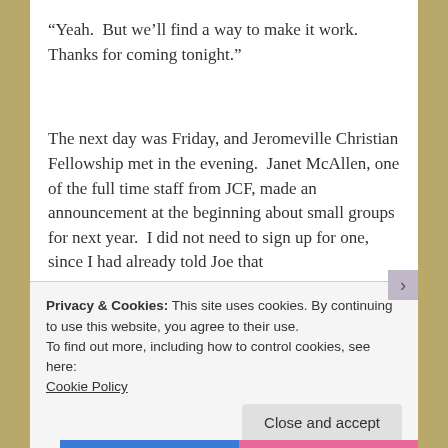“Yeah.  But we’ll find a way to make it work.  Thanks for coming tonight.”
The next day was Friday, and Jeromeville Christian Fellowship met in the evening.  Janet McAllen, one of the full time staff from JCF, made an announcement at the beginning about small groups for next year.  I did not need to sign up for one, since I had already told Joe that
Privacy & Cookies: This site uses cookies. By continuing to use this website, you agree to their use.
To find out more, including how to control cookies, see here: Cookie Policy
Close and accept